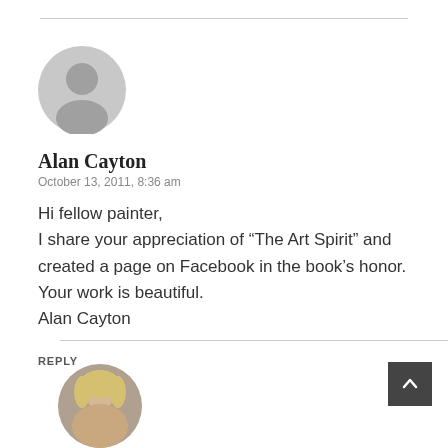[Figure (illustration): Default user avatar placeholder — grey circle with silhouette of a person's head and shoulders]
Alan Cayton
October 13, 2011, 8:36 am
Hi fellow painter,
I share your appreciation of “The Art Spirit” and created a page on Facebook in the book’s honor. Your work is beautiful.
Alan Cayton
REPLY
[Figure (photo): Partial view of a second user avatar — appears to be a photo of a woman with blonde hair]